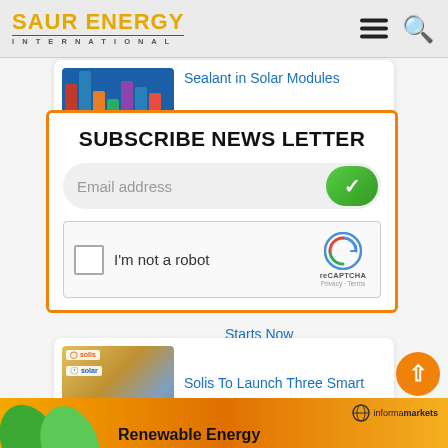SAUR ENERGY INTERNATIONAL
Sealant in Solar Modules
China Underlines...
SUBSCRIBE NEWS LETTER
Email address
I'm not a robot
reCAPTCHA Privacy · Terms
Starts Now
Solis To Launch Three Smart ESS At Intersolar Europe
[Figure (logo): Informa Markets logo]
Renewable Energy